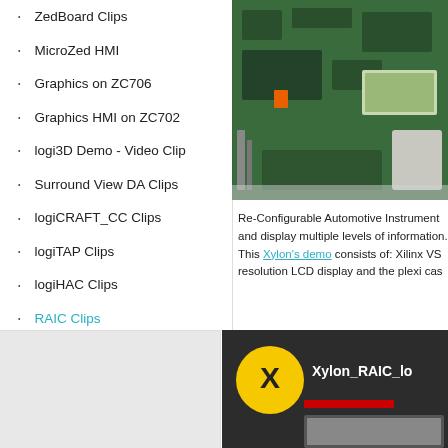ZedBoard Clips
MicroZed HMI
Graphics on ZC706
Graphics HMI on ZC702
logi3D Demo - Video Clip
Surround View DA Clips
logiCRAFT_CC Clips
logiTAP Clips
logiHAC Clips
RAIC Clips
Dual-View LCD Clips
[Figure (photo): Green PCB/FPGA development board with components and LCD display]
Re-Configurable Automotive Instrument and display multiple levels of information. This Xylon's demo consists of: Xilinx VS resolution LCD display and the plexi cas
[Figure (screenshot): Video thumbnail showing Xylon RAIC demo with yellow Xylon X logo circle and text Xylon_RAIC_lo]